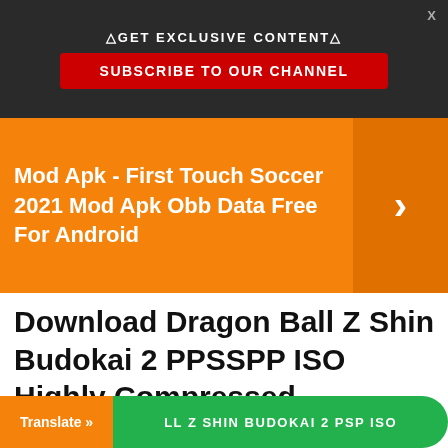△GET EXCLUSIVE CONTENT△
SUBSCRIBE TO OUR CHANNEL
[Figure (screenshot): Orange banner with text: Mod Apk - First Touch Soccer 2021 Mod Apk Obb Data Free For Android, with a right-pointing chevron arrow on orange background]
Download Dragon Ball Z Shin Budokai 2 PPSSPP ISO Highly Compressed
Server 1
DRAGON BALL Z SHIN BUDOKAI 2 PSP ISO
Server 2
LL Z SHIN BUDOKAI 2 PSP ISO